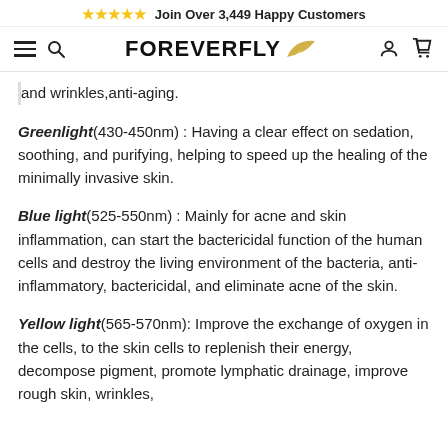★★★★★ Join Over 3,449 Happy Customers
[Figure (logo): FOREVERFLY logo with golden wing icon, hamburger menu, search icon, user icon, and cart icon navigation bar]
and wrinkles, anti-aging.
Greenlight(430-450nm) : Having a clear effect on sedation, soothing, and purifying, helping to speed up the healing of the minimally invasive skin.
Blue light(525-550nm) : Mainly for acne and skin inflammation, can start the bactericidal function of the human cells and destroy the living environment of the bacteria, anti-inflammatory, bactericidal, and eliminate acne of the skin.
Yellow light(565-570nm): Improve the exchange of oxygen in the cells, to the skin cells to replenish their energy, decompose pigment, promote lymphatic drainage, improve rough skin, wrinkles,